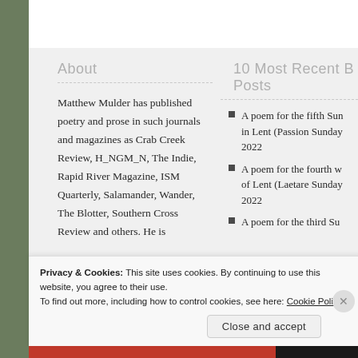About
Matthew Mulder has published poetry and prose in such journals and magazines as Crab Creek Review, H_NGM_N, The Indie, Rapid River Magazine, ISM Quarterly, Salamander, Wander, The Blotter, Southern Cross Review and others. He is
10 Most Recent Blog Posts
A poem for the fifth Sunday in Lent (Passion Sunday) 2022
A poem for the fourth week of Lent (Laetare Sunday) 2022
A poem for the third Su…
Privacy & Cookies: This site uses cookies. By continuing to use this website, you agree to their use.
To find out more, including how to control cookies, see here: Cookie Policy
Close and accept